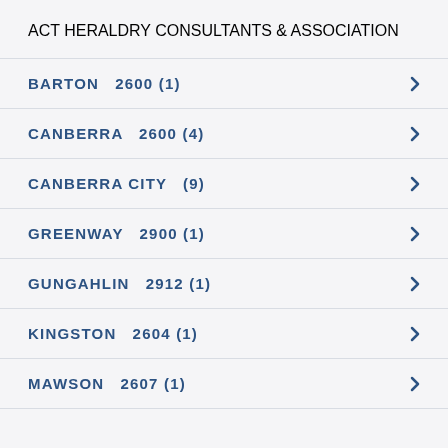ACT HERALDRY CONSULTANTS & ASSOCIATION
BARTON  2600 (1)
CANBERRA  2600 (4)
CANBERRA CITY  (9)
GREENWAY  2900 (1)
GUNGAHLIN  2912 (1)
KINGSTON  2604 (1)
MAWSON  2607 (1)